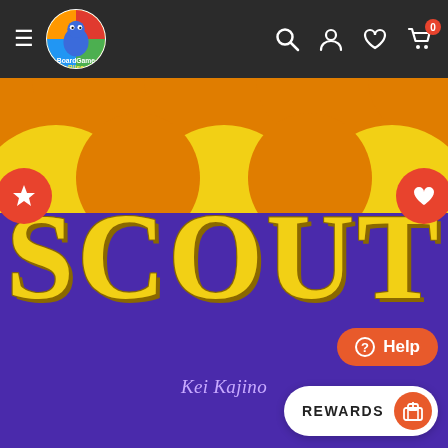[Figure (screenshot): BoardGame Bliss website navigation bar with hamburger menu, logo, search, account, wishlist, and cart icons on dark background]
[Figure (screenshot): Scout board game product image showing circus tent design with purple background, orange and yellow arcs at top, large yellow SCOUT text, author name Kei Kajino, wishlist star button, heart button, Help button, and REWARDS button at bottom right]
SCOUT
Kei Kajino